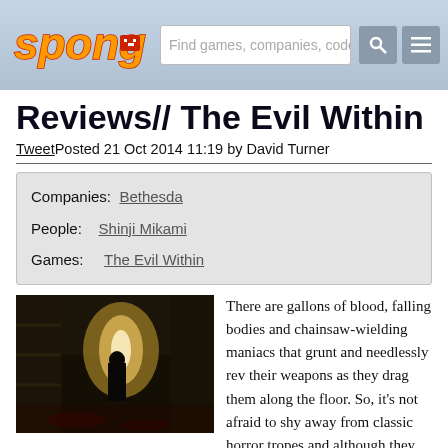spong | Find games, companies, coder:
Reviews// The Evil Within
Tweet Posted 21 Oct 2014 11:19 by David Turner
| Field | Value |
| --- | --- |
| Companies: | Bethesda |
| People: | Shinji Mikami |
| Games: | The Evil Within |
[Figure (photo): Dark horror game screenshot showing a silhouetted figure in a dimly lit, bloody room]
There are gallons of blood, falling bodies and chainsaw-wielding maniacs that grunt and needlessly rev their weapons as they drag them along the floor. So, it's not afraid to shy away from classic horror tropes and although they all have the potential to fall flat, they never do.
That's largely down to the art direction. This isn't a stunning-looking game and suffers from frame rate issues here and there